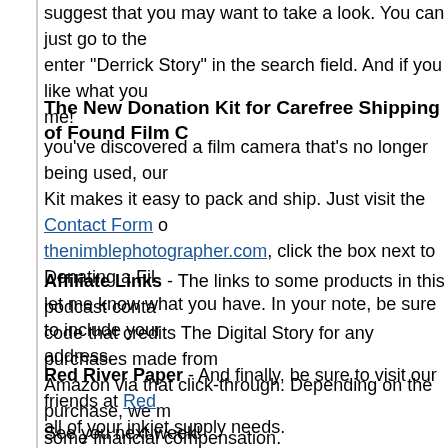suggest that you may want to take a look. You can just go to the enter "Derrick Story" in the search field. And if you like what you me!
The New Donation Kit for Carefree Shipping of Found Film C
you've discovered a film camera that's no longer being used, our Kit makes it easy to pack and ship. Just visit the Contact Form o thenimblephotographer.com, click the box next to Donating a Fil let me know what you have. In your note, be sure to include your address.
Affiliate Links - The links to some products in this podcast conta code that credits The Digital Story for any purchases made from Amazon via that click-through. Depending on the purchase, we m some financial compensation.
Red River Paper - And finally, be sure to visit our friends at Red all of your inkjet supply needs.
See you next week!
You can share your thoughts at the TDS Facebook page, where for discussion.